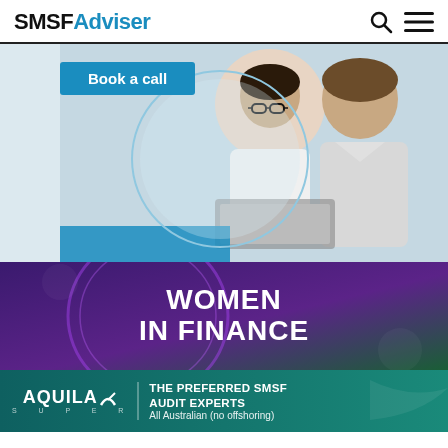SMSFAdviser
[Figure (photo): Advertisement banner with 'Book a call' button and photo of two professionals (woman with glasses and man) in a meeting. Blue accent bar at bottom left.]
[Figure (infographic): Women in Finance promotional banner with purple/green gradient background and circular decorative element. Text reads 'WOMEN IN FINANCE'.]
[Figure (infographic): Aquila Super advertisement bar in teal color. Logo reads 'AQUILA SUPER' with tagline 'THE PREFERRED SMSF AUDIT EXPERTS' and 'All Australian (no offshoring)']